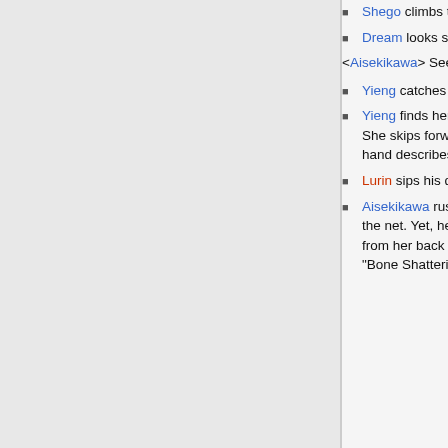Shego climbs to her feet, snarling.
Dream looks startled, but grins happily at Yieng. "Nicely done."
<Aisekikawa> See, Shego, useless posturing.
Yieng catches the ball and moves to the corner of the court.
Yieng finds her center, the quietly-burning light of her pure heart washing away all doubt and fear. She skips forward, letting out an explosive breath and tossing the ball up into the air. Her other hand describes an elegant arc, and the ball sails across the net.
Lurin sips his drink. Mmm, boobies.
Aisekikawa rushes forward, her body moves into a sudden crouch and explodes upward in front of the net. Yet, her body and arms are too low, but her head snaps forward and her braid comes away from her back snapping up and pushing the ball back into the too pure face of Yieng as she cries, "Bone Shattering Hair Whip!"